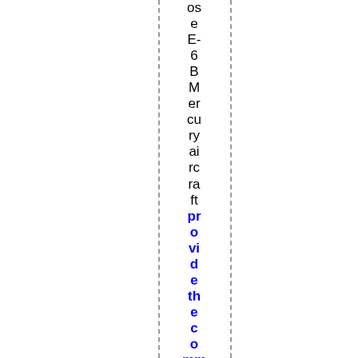ose E-6 B Mercury aircraft provide the communication